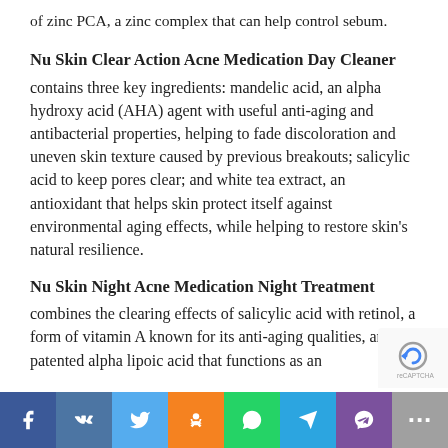of zinc PCA, a zinc complex that can help control sebum.
Nu Skin Clear Action Acne Medication Day Cleaner
contains three key ingredients: mandelic acid, an alpha hydroxy acid (AHA) agent with useful anti-aging and antibacterial properties, helping to fade discoloration and uneven skin texture caused by previous breakouts; salicylic acid to keep pores clear; and white tea extract, an antioxidant that helps skin protect itself against environmental aging effects, while helping to restore skin's natural resilience.
Nu Skin Night Acne Medication Night Treatment
combines the clearing effects of salicylic acid with retinol, a form of vitamin A known for its anti-aging qualities, and a patented alpha lipoic acid that functions as an
Facebook VK Twitter OK WhatsApp Telegram Viber More